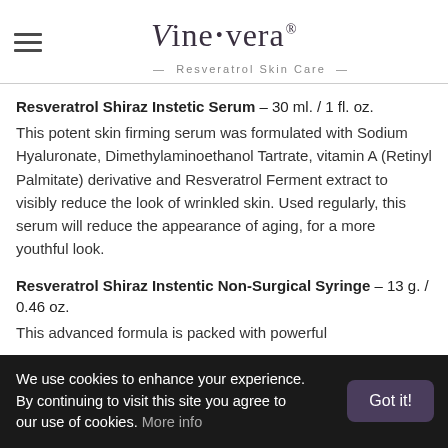Vine·vera® Resveratrol Skin Care
Resveratrol Shiraz Instetic Serum – 30 ml. / 1 fl. oz.
This potent skin firming serum was formulated with Sodium Hyaluronate, Dimethylaminoethanol Tartrate, vitamin A (Retinyl Palmitate) derivative and Resveratrol Ferment extract to visibly reduce the look of wrinkled skin. Used regularly, this serum will reduce the appearance of aging, for a more youthful look.
Resveratrol Shiraz Instentic Non-Surgical Syringe – 13 g. / 0.46 oz.
This advanced formula is packed with powerful
We use cookies to enhance your experience. By continuing to visit this site you agree to our use of cookies. More info